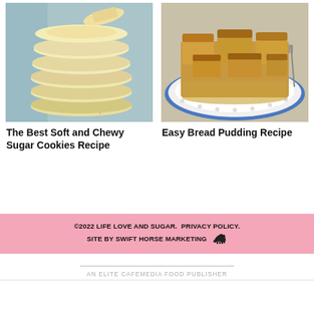[Figure (photo): Stack of soft and chewy sugar cookies on a blue background]
The Best Soft and Chewy Sugar Cookies Recipe
[Figure (photo): Easy bread pudding on a white plate with blue rim and sauce]
Easy Bread Pudding Recipe
©2022 LIFE LOVE AND SUGAR. PRIVACY POLICY. SITE BY SWIFT HORSE MARKETING
AN ELITE CAFEMEDIA FOOD PUBLISHER